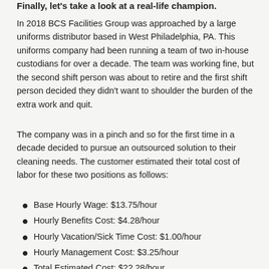Finally, let's take a look at a real-life champion.
In 2018 BCS Facilities Group was approached by a large uniforms distributor based in West Philadelphia, PA.  This uniforms company had been running a team of two in-house custodians for over a decade.  The team was working fine, but the second shift person was about to retire and the first shift person decided they didn't want to shoulder the burden of the extra work and quit.
The company was in a pinch and so for the first time in a decade decided to pursue an outsourced solution to their cleaning needs.  The customer estimated their total cost of labor for these two positions as follows:
Base Hourly Wage: $13.75/hour
Hourly Benefits Cost: $4.28/hour
Hourly Vacation/Sick Time Cost: $1.00/hour
Hourly Management Cost: $3.25/hour
Total Estimated Cost: $22.28/hour